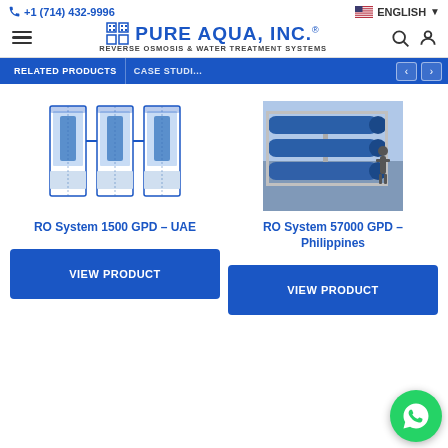+1 (714) 432-9996 | ENGLISH | Pure Aqua, Inc. — Reverse Osmosis & Water Treatment Systems
[Figure (screenshot): Product image: RO System 1500 GPD - UAE — three blue vertical RO unit frames side by side]
RO System 1500 GPD – UAE
VIEW PRODUCT
[Figure (screenshot): Product image: RO System 57000 GPD - Philippines — large industrial RO system with blue membrane housings, person visible]
RO System 57000 GPD – Philippines
VIEW PRODUCT